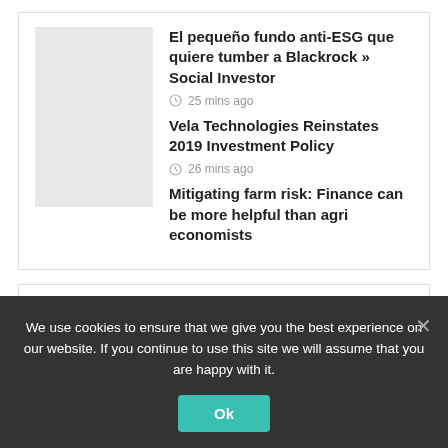El pequeño fundo anti-ESG que quiere tumber a Blackrock » Social Investor
25 mins ago
Vela Technologies Reinstates 2019 Investment Policy
26 mins ago
Mitigating farm risk: Finance can be more helpful than agri economists
House
We use cookies to ensure that we give you the best experience on our website. If you continue to use this site we will assume that you are happy with it.